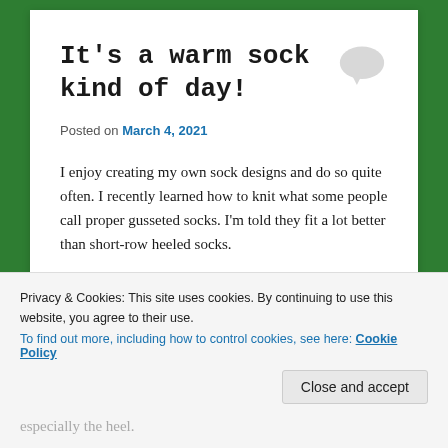It's a warm sock kind of day!
Posted on March 4, 2021
I enjoy creating my own sock designs and do so quite often. I recently learned how to knit what some people call proper gusseted socks. I'm told they fit a lot better than short-row heeled socks.
Here's the thing about that: If you have small feet and/or small heels, the short-row heels fit much, much better than gusset heeled socks. Gusset heeled socks were the standard
Privacy & Cookies: This site uses cookies. By continuing to use this website, you agree to their use.
To find out more, including how to control cookies, see here: Cookie Policy
especially the heel.